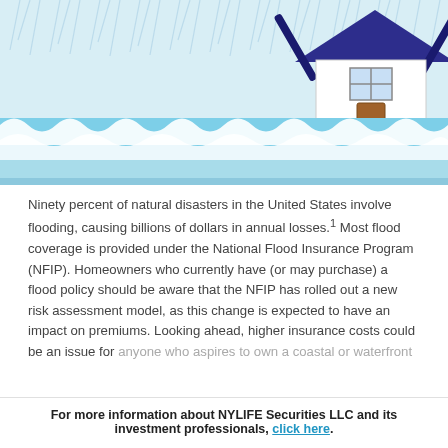[Figure (illustration): Flood illustration showing a house floating on rising flood water with rain falling. The house has a dark blue/purple roof, and red posts beneath it. Blue waves and light blue flood water fill the lower portion. Rain streaks visible in the upper left.]
Ninety percent of natural disasters in the United States involve flooding, causing billions of dollars in annual losses.1 Most flood coverage is provided under the National Flood Insurance Program (NFIP). Homeowners who currently have (or may purchase) a flood policy should be aware that the NFIP has rolled out a new risk assessment model, as this change is expected to have an impact on premiums. Looking ahead, higher insurance costs could be an issue for anyone who aspires to own a coastal or waterfront
For more information about NYLIFE Securities LLC and its investment professionals, click here.